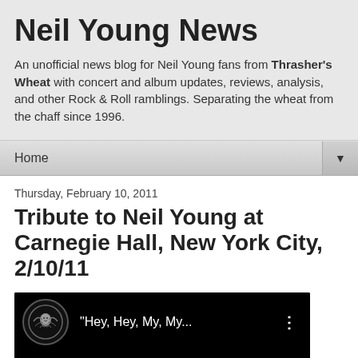Neil Young News
An unofficial news blog for Neil Young fans from Thrasher's Wheat with concert and album updates, reviews, analysis, and other Rock & Roll ramblings. Separating the wheat from the chaff since 1996.
Home
Thursday, February 10, 2011
Tribute to Neil Young at Carnegie Hall, New York City, 2/10/11
[Figure (screenshot): Embedded YouTube video thumbnail showing a black screen with a circular ornate logo icon and the text 'Hey, Hey, My, My...' with a three-dot menu icon]